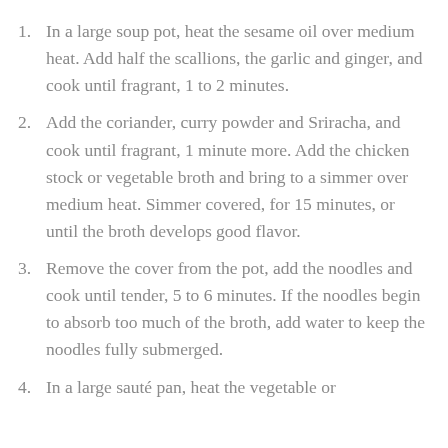In a large soup pot, heat the sesame oil over medium heat. Add half the scallions, the garlic and ginger, and cook until fragrant, 1 to 2 minutes.
Add the coriander, curry powder and Sriracha, and cook until fragrant, 1 minute more. Add the chicken stock or vegetable broth and bring to a simmer over medium heat. Simmer covered, for 15 minutes, or until the broth develops good flavor.
Remove the cover from the pot, add the noodles and cook until tender, 5 to 6 minutes. If the noodles begin to absorb too much of the broth, add water to keep the noodles fully submerged.
In a large sauté pan, heat the vegetable or